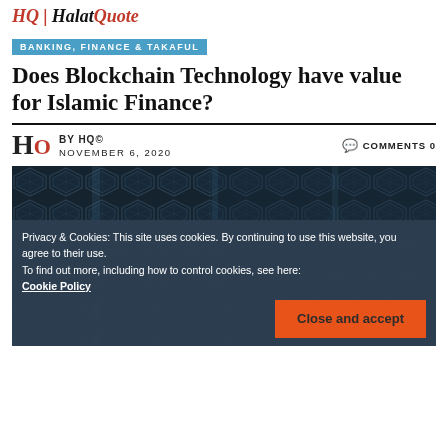HQ | HalatQuote
BANKING, FINANCE & TAKAFUL
Does Blockchain Technology have value for Islamic Finance?
BY HQ© NOVEMBER 6, 2020 COMMENTS 0
[Figure (photo): Close-up architectural photo of a modern building facade with geometric hexagonal glass panels in dark blue-grey tones]
Privacy & Cookies: This site uses cookies. By continuing to use this website, you agree to their use.
To find out more, including how to control cookies, see here: Cookie Policy
Close and accept